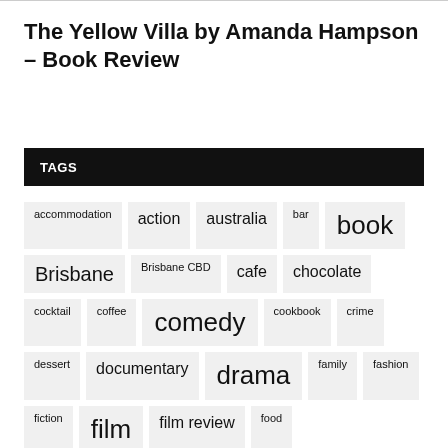The Yellow Villa by Amanda Hampson – Book Review
TAGS
accommodation
action
australia
bar
book
Brisbane
Brisbane CBD
cafe
chocolate
cocktail
coffee
comedy
cookbook
crime
dessert
documentary
drama
family
fashion
fiction
film
film review
food